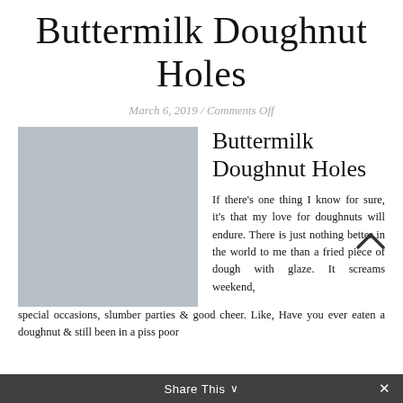Buttermilk Doughnut Holes
March 6, 2019 / Comments Off
[Figure (photo): Gray placeholder image for Buttermilk Doughnut Holes recipe]
Buttermilk Doughnut Holes
If there’s one thing I know for sure, it’s that my love for doughnuts will endure. There is just nothing better in the world to me than a fried piece of dough with glaze. It screams weekend, special occasions, slumber parties & good cheer. Like, Have you ever eaten a doughnut & still been in a piss poor